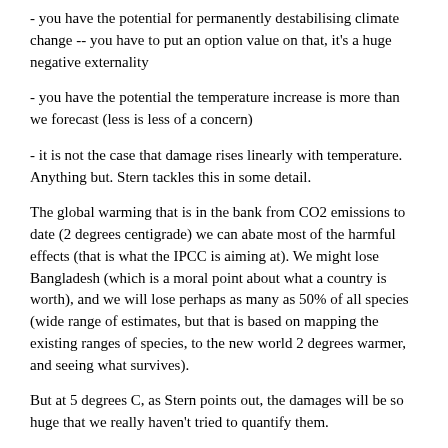- you have the potential for permanently destabilising climate change -- you have to put an option value on that, it's a huge negative externality
- you have the potential the temperature increase is more than we forecast (less is less of a concern)
- it is not the case that damage rises linearly with temperature. Anything but. Stern tackles this in some detail.
The global warming that is in the bank from CO2 emissions to date (2 degrees centigrade) we can abate most of the harmful effects (that is what the IPCC is aiming at). We might lose Bangladesh (which is a moral point about what a country is worth), and we will lose perhaps as many as 50% of all species (wide range of estimates, but that is based on mapping the existing ranges of species, to the new world 2 degrees warmer, and seeing what survives).
But at 5 degrees C, as Stern points out, the damages will be so huge that we really haven't tried to quantify them.